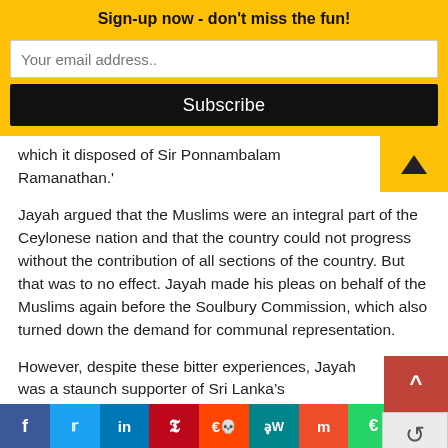Sign-up now - don't miss the fun!
which it disposed of Sir Ponnambalam Ramanathan.'
Jayah argued that the Muslims were an integral part of the Ceylonese nation and that the country could not progress without the contribution of all sections of the country. But that was to no effect. Jayah made his pleas on behalf of the Muslims again before the Soulbury Commission, which also turned down the demand for communal representation.
However, despite these bitter experiences, Jayah was a staunch supporter of Sri Lanka’s independence. He campaigned for the creation of the Muslim state of Pakistan but would not countenance the division of Sri Lanka. He told the State Council that freedom for Sr